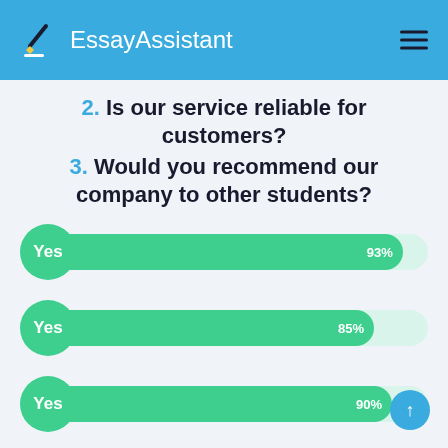EssayAssistant
2. Is our service reliable for customers?
3. Would you recommend our company to other students?
[Figure (bar-chart): Survey responses]